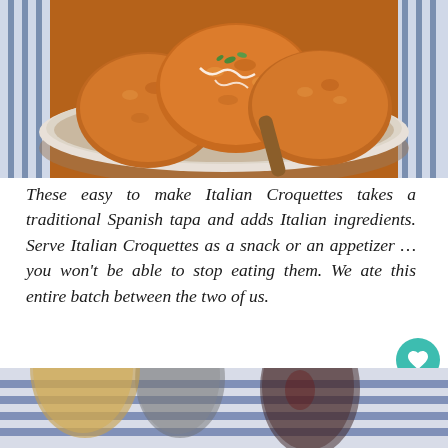[Figure (photo): Overhead view of golden-brown fried Italian croquettes in a white bowl on a blue and white striped cloth, with white drizzle and fresh herb garnish on a wooden table.]
These easy to make Italian Croquettes takes a traditional Spanish tapa and adds Italian ingredients. Serve Italian Croquettes as a snack or an appetizer … you won't be able to stop eating them. We ate this entire batch between the two of us.
[Figure (photo): Close-up of wine glasses and other drinkware on a blue and white striped cloth, partially cropped at the bottom of the page.]